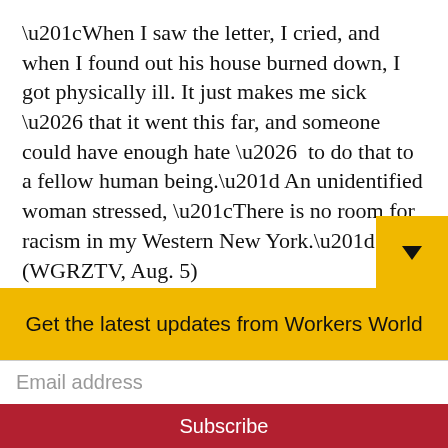“When I saw the letter, I cried, and when I found out his house burned down, I got physically ill. It just makes me sick … that it went this far, and someone could have enough hate …  to do that to a fellow human being.” An unidentified woman stressed, “There is no room for racism in my Western New York.” (WGRZTV, Aug. 5)
A local firefighter set up an online donation page which, to date, has raised more than $150,000 from 4,000 people countrywide. Messages of sympathy and solidarity as w
Get the latest updates from Workers World
Email address
Subscribe